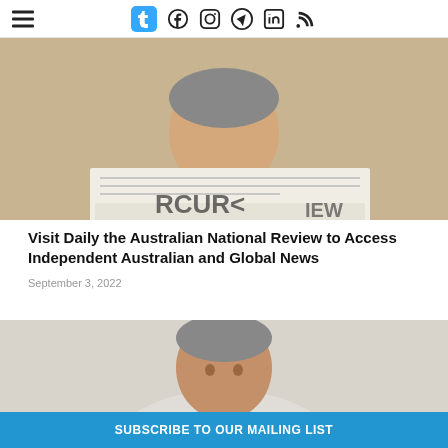Navigation header with hamburger menu and social icons: Tumblr, Facebook, Instagram, Telegram, LinkedIn, RSS
[Figure (photo): Young man in grey t-shirt reading a newspaper, cropped at shoulders]
Visit Daily the Australian National Review to Access Independent Australian and Global News
September 3, 2022
[Figure (photo): Middle-aged man with salt-and-pepper hair, headshot against light grey background]
SUBSCRIBE TO OUR MAILING LIST